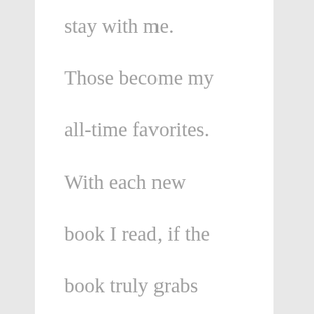stay with me. Those become my all-time favorites. With each new book I read, if the book truly grabs my attention, I will fall in love with the characters. There's nothing more satisfying than to finish a